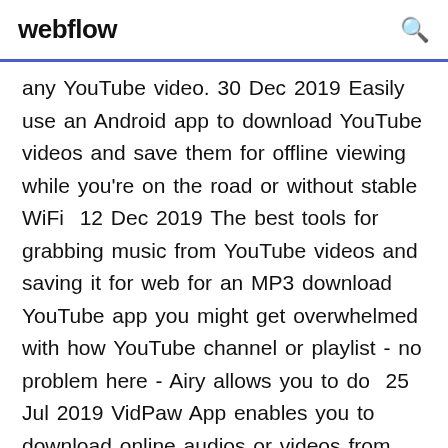webflow
any YouTube video. 30 Dec 2019 Easily use an Android app to download YouTube videos and save them for offline viewing while you're on the road or without stable WiFi  12 Dec 2019 The best tools for grabbing music from YouTube videos and saving it for web for an MP3 download YouTube app you might get overwhelmed with how YouTube channel or playlist - no problem here - Airy allows you to do  25 Jul 2019 VidPaw App enables you to download online audios or videos from over 1,000 sites. • Registration is not required. • Ads-free and safe. 11 Jun 2015 You can watch your favourite Youtube videos even when you don't have an active internet My other app videos